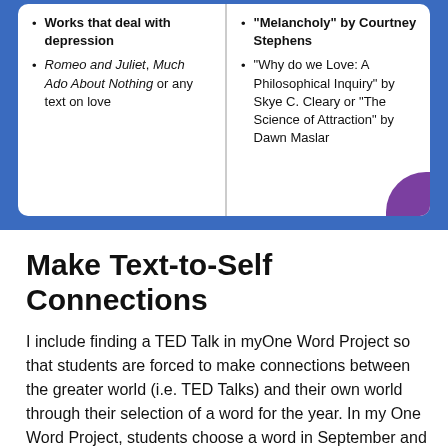[Figure (infographic): Two-column card with blue border and white background showing bullet lists. Left column lists works about depression including Romeo and Juliet, Much Ado About Nothing. Right column lists works about love including Melancholy by Courtney Stephens and Why do we Love: A Philosophical Inquiry by Skye C. Cleary or The Science of Attraction by Dawn Maslar. Purple accent in bottom-right corner.]
Make Text-to-Self Connections
I include finding a TED Talk in myOne Word Project so that students are forced to make connections between the greater world (i.e. TED Talks) and their own world through their selection of a word for the year.  In my One Word Project, students choose a word in September and follow it through the year until the